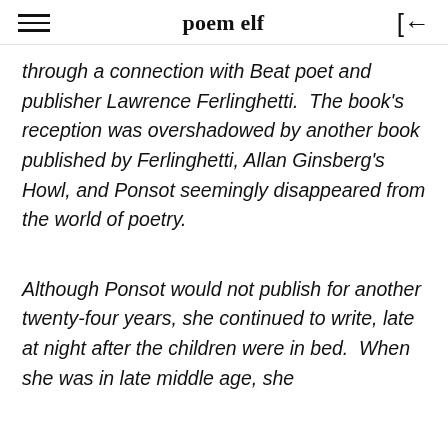poem elf
through a connection with Beat poet and publisher Lawrence Ferlinghetti.  The book's reception was overshadowed by another book published by Ferlinghetti, Allan Ginsberg's Howl, and Ponsot seemingly disappeared from the world of poetry.
Although Ponsot would not publish for another twenty-four years, she continued to write, late at night after the children were in bed.  When she was in late middle age, she